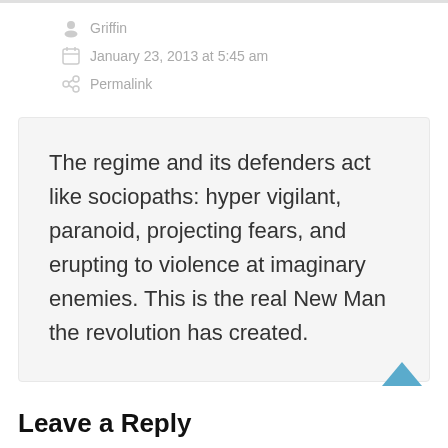Griffin
January 23, 2013 at 5:45 am
Permalink
The regime and its defenders act like sociopaths: hyper vigilant, paranoid, projecting fears, and erupting to violence at imaginary enemies. This is the real New Man the revolution has created.
Leave a Reply
Your email address will not be published.
Required fields are marked *